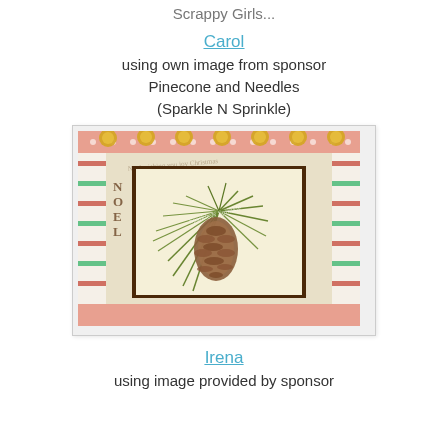Scrappy Girls...
Carol
using own image from sponsor
Pinecone and Needles
(Sparkle N Sprinkle)
[Figure (photo): A handmade Christmas card featuring a pinecone and pine needles illustration in a square frame, surrounded by decorative Christmas patterned paper borders with stripes and text, and gold ornament embellishments along the top edge.]
Irena
using image provided by sponsor